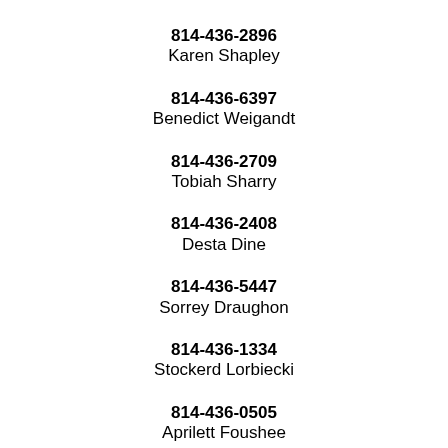814-436-2896
Karen Shapley
814-436-6397
Benedict Weigandt
814-436-2709
Tobiah Sharry
814-436-2408
Desta Dine
814-436-5447
Sorrey Draughon
814-436-1334
Stockerd Lorbiecki
814-436-0505
Aprilett Foushee
814-436-2321
Jodie Jeziorski
814-436-5120